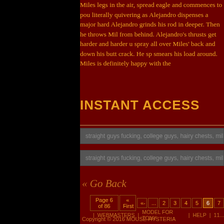Miles legs in the air, spread eagle and commences to pou... literally quivering as Alejandro dispenses a major hard... Alejandro grinds his rod in deeper. Then he throws Mil... from behind. Alejandro's thrusts get harder and harder u... spray all over Miles' back and down his butt crack. He sp... smears his load around. Miles is definitely happy with the...
INSTANT ACCESS
straight guys fucking, college guys, hairy chests, military gay sex, m...
straight guys fucking, college guys, hairy chests, military gay sex, m...
« Go Back
Page 6 of 86  « First  «-  ...  2  3  4  5  6  7
WEBMASTERS  MODEL FOR TONY  HELP  11...
Copyright © 2016 MOUSE HYSTERIA